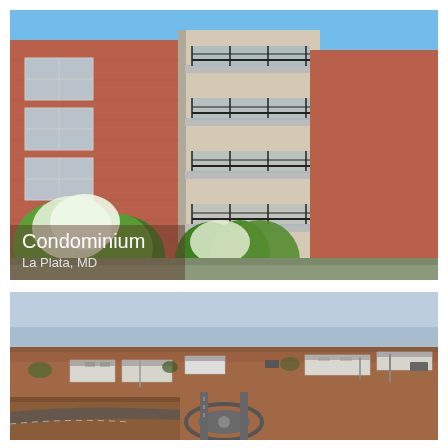[Figure (photo): Exterior view of a modern multi-story brick condominium building with large windows, black iron balcony railings, and green flowering trees in the foreground against a clear blue sky. Text overlay reads 'Condominium / La Plata, MD'.]
[Figure (photo): Aerial or elevated view of a residential development under construction, showing red-brown dirt lots, a circular road feature, small white buildings/homes, and construction equipment in a flat landscape.]